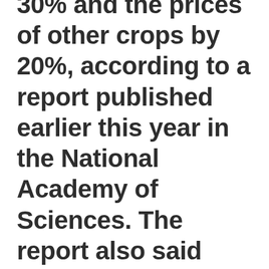30% and the prices of other crops by 20%, according to a report published earlier this year in the National Academy of Sciences. The report also said growing more corn for ethanol led to increased amounts of water pollutants from U.S. farms and negated ethanol's climate benefits.